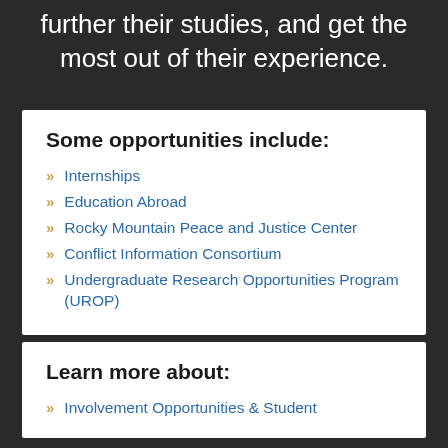further their studies, and get the most out of their experience.
Some opportunities include:
Internships
Education Abroad
Rocky Mountain Peace and Justice Center
Conflict Information Consortium
Undergraduate Research Opportunities Program (UROP)
Learn more about:
Involvement Opportunities & Student